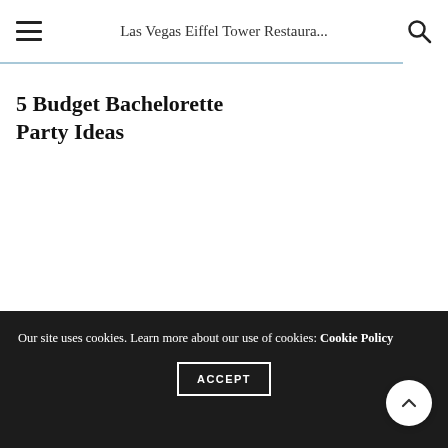Las Vegas Eiffel Tower Restaura...
5 Budget Bachelorette Party Ideas
Our site uses cookies. Learn more about our use of cookies: Cookie Policy
ACCEPT